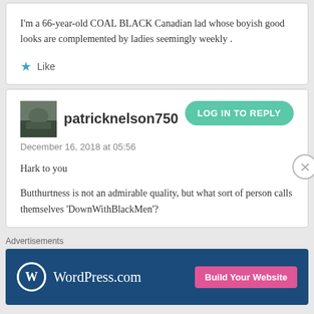I'm a 66-year-old COAL BLACK Canadian lad whose boyish good looks are complemented by ladies seemingly weekly .
★ Like
patricknelson750
December 16, 2018 at 05:56
Hark to you
Butthurtness is not an admirable quality, but what sort of person calls themselves 'DownWithBlackMen'?
Advertisements
[Figure (screenshot): WordPress.com advertisement banner with logo and 'Build Your Website' button]